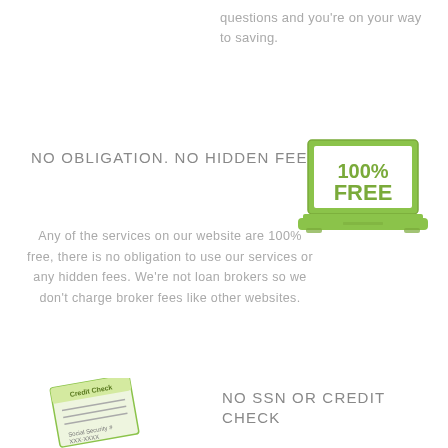questions and you're on your way to saving.
NO OBLIGATION. NO HIDDEN FEES
[Figure (illustration): Green laptop icon with '100% FREE' text on screen]
Any of the services on our website are 100% free, there is no obligation to use our services or any hidden fees. We're not loan brokers so we don't charge broker fees like other websites.
NO SSN OR CREDIT CHECK
[Figure (illustration): Credit Check document with Social Security number redacted (shown as XXXX-XXXX)]